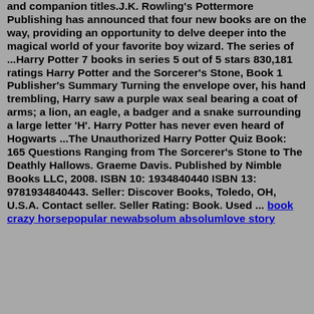and companion titles.J.K. Rowling's Pottermore Publishing has announced that four new books are on the way, providing an opportunity to delve deeper into the magical world of your favorite boy wizard. The series of ...Harry Potter 7 books in series 5 out of 5 stars 830,181 ratings Harry Potter and the Sorcerer's Stone, Book 1 Publisher's Summary Turning the envelope over, his hand trembling, Harry saw a purple wax seal bearing a coat of arms; a lion, an eagle, a badger and a snake surrounding a large letter 'H'. Harry Potter has never even heard of Hogwarts ...The Unauthorized Harry Potter Quiz Book: 165 Questions Ranging from The Sorcerer's Stone to The Deathly Hallows. Graeme Davis. Published by Nimble Books LLC, 2008. ISBN 10: 1934840440 ISBN 13: 9781934840443. Seller: Discover Books, Toledo, OH, U.S.A. Contact seller. Seller Rating: Book. Used ... book crazy horsepopular newabsolum absolumlove story